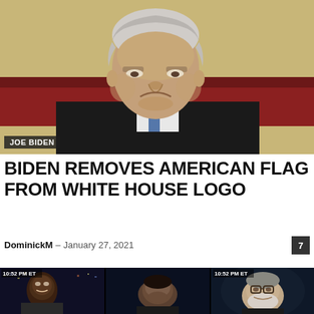[Figure (photo): Photo of Joe Biden with serious expression, American flag visible in background, with caption label 'JOE BIDEN']
BIDEN REMOVES AMERICAN FLAG FROM WHITE HOUSE LOGO
DominickM – January 27, 2021
[Figure (screenshot): TV news screenshot showing three panelists at 10:52 PM ET]